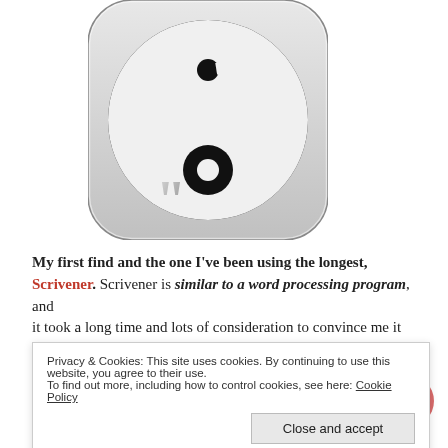[Figure (logo): Scrivener app icon — yin-yang style logo in black and white with rounded rectangle shape, silver/metallic accents]
My first find and the one I've been using the longest, Scrivener.  Scrivener is similar to a word processing program, and it took a long time and lots of consideration to convince me it try.
Privacy & Cookies: This site uses cookies. By continuing to use this website, you agree to their use.
To find out more, including how to control cookies, see here: Cookie Policy
Close and accept
Three things that stand out for my purposes in Scrivener are:  (1)